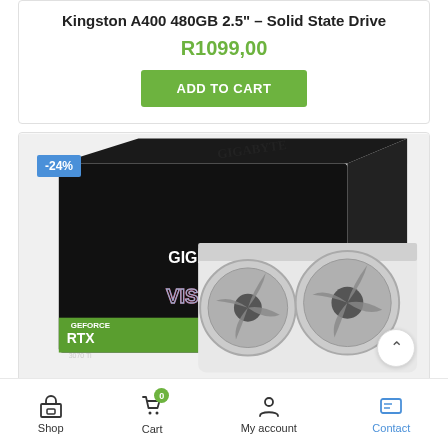Kingston A400 480GB 2.5" – Solid State Drive
R1099,00
ADD TO CART
[Figure (photo): Gigabyte GeForce RTX 3070 Ti Vision graphics card product photo showing the GPU card with three white fans alongside its retail box. A -24% discount badge is shown in the top left corner.]
Shop | Cart (0) | My account | Contact